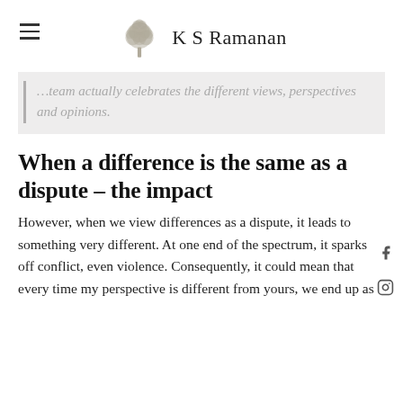K S Ramanan
…team actually celebrates the different views, perspectives and opinions.
When a difference is the same as a dispute – the impact
However, when we view differences as a dispute, it leads to something very different. At one end of the spectrum, it sparks off conflict, even violence. Consequently, it could mean that every time my perspective is different from yours, we end up as